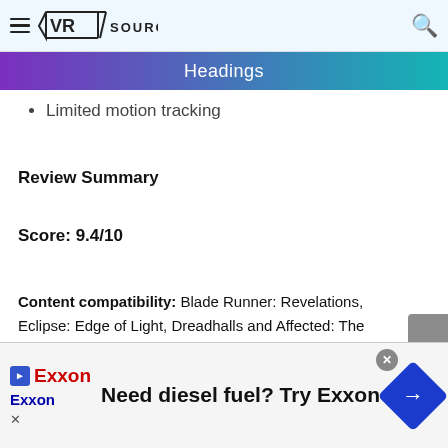VR SOURCE
Headings
Limited motion tracking
Review Summary
Score: 9.4/10
Content compatibility: Blade Runner: Revelations, Eclipse: Edge of Light, Dreadhalls and Affected: The Manor
[Figure (other): Advertisement banner: Need diesel fuel? Try Exxon — Exxon logo and navigation icon]